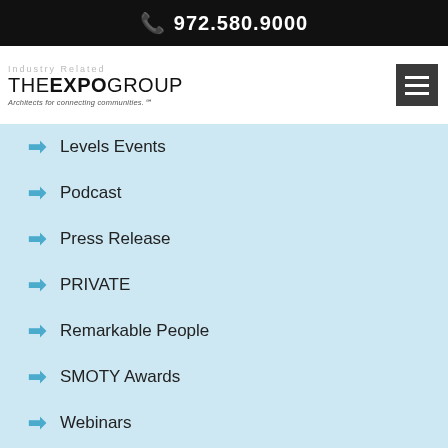972.580.9000
[Figure (logo): The Expo Group logo with tagline 'Architects for connecting communities.']
Levels Events
Podcast
Press Release
PRIVATE
Remarkable People
SMOTY Awards
Webinars